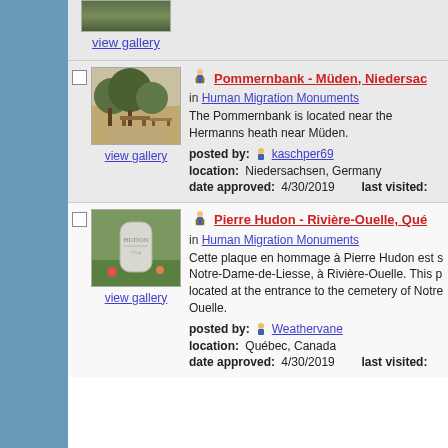view gallery
[Figure (photo): Outdoor park area with benches and trees]
view gallery
Pommernbank - Müden, Niedersachsen
in Human Migration Monuments
The Pommernbank is located near the Hermanns heath near Müden.
posted by: kaschper69
location: Niedersachsen, Germany
date approved: 4/30/2019   last visited:
[Figure (photo): Gravestone for Hudon in cemetery]
view gallery
Pierre Hudon - Rivière-Ouelle, Québec
in Human Migration Monuments
Cette plaque en hommage à Pierre Hudon est située à Notre-Dame-de-Liesse, à Rivière-Ouelle. This pl located at the entrance to the cemetery of Notre-Dame-de-Liesse, à Rivière-Ouelle.
posted by: Weathervane
location: Québec, Canada
date approved: 4/30/2019   last visited: